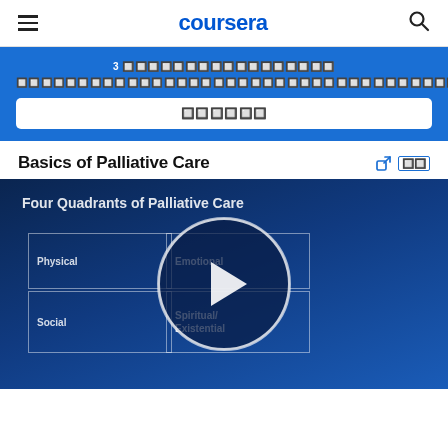coursera
3 🔲🔲🔲🔲🔲🔲🔲🔲🔲🔲🔲🔲🔲🔲🔲🔲🔲 🔲🔲🔲🔲🔲🔲🔲🔲🔲🔲🔲🔲🔲🔲🔲🔲🔲🔲🔲🔲🔲🔲🔲🔲🔲
🔲🔲🔲🔲🔲🔲
Basics of Palliative Care
[Figure (screenshot): Video thumbnail showing 'Four Quadrants of Palliative Care' diagram with Physical, Emotional, Social, and Spiritual/Existential quadrants, with a play button overlay]